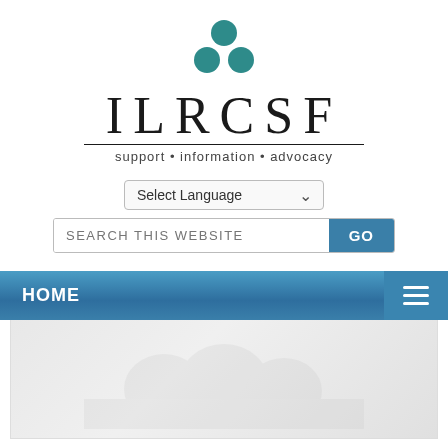[Figure (logo): ILRCSF logo with three teal circles above the text ILRCSF and tagline support · information · advocacy]
Select Language ▾
SEARCH THIS WEBSITE  GO
HOME ≡
[Figure (photo): Faded background photo of people, partially visible at bottom of page]